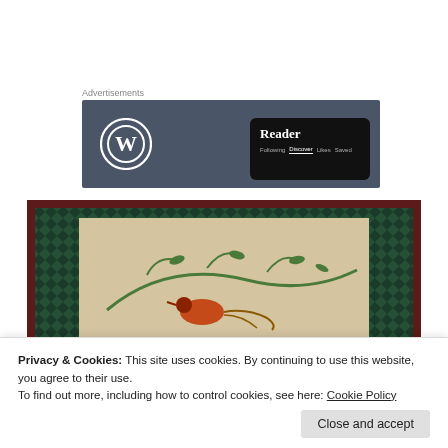Advertisements
[Figure (screenshot): WordPress.com advertisement banner showing the WordPress logo and a Reader interface panel with tabs: Following, Discover, Likes, Saved]
[Figure (photo): Close-up photo of a needlepoint/tapestry with floral and bird motifs on a beige background with dark blue and green geometric border pattern]
Privacy & Cookies: This site uses cookies. By continuing to use this website, you agree to their use.
To find out more, including how to control cookies, see here: Cookie Policy
Close and accept